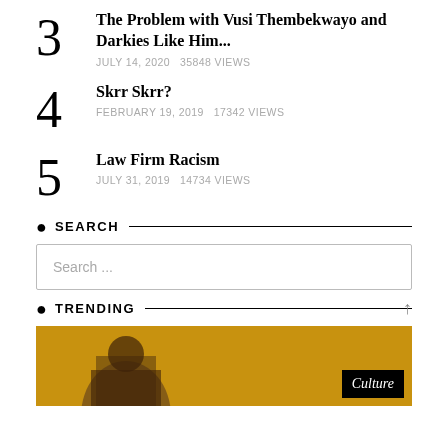3 — The Problem with Vusi Thembekwayo and Darkies Like Him... — JULY 14, 2020   35848 VIEWS
4 — Skrr Skrr? — FEBRUARY 19, 2019   17342 VIEWS
5 — Law Firm Racism — JULY 31, 2019   14734 VIEWS
SEARCH
Search ...
TRENDING
[Figure (photo): Photo of a person outdoors with a golden/yellow background, with a 'Culture' badge overlay in the bottom right corner.]